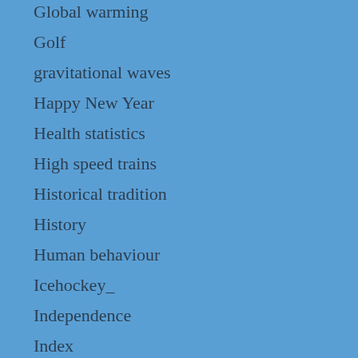Global warming
Golf
gravitational waves
Happy New Year
Health statistics
High speed trains
Historical tradition
History
Human behaviour
Icehockey_
Independence
Index
International Date Line
Internet of Things
Interview